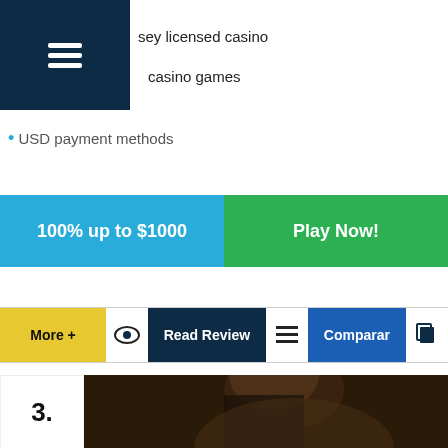sey licensed casino
casino games
USD payment methods
100% up to $1000
Play Now!
More +
Read Review
Comparar
3.
[Figure (photo): BetMGM casino advertisement featuring a man in a suit holding a BetMGM branded phone/card]